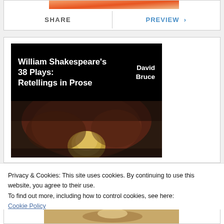[Figure (illustration): Top portion of a book cover with orange/warm gradient image strip visible at top]
SHARE
PREVIEW >
[Figure (illustration): Book cover for 'William Shakespeare's 38 Plays: Retellings in Prose' by David Bruce. Black header with white bold title text, below is a painting detail showing a figure with dark background and golden/yellow circular form.]
Privacy & Cookies: This site uses cookies. By continuing to use this website, you agree to their use.
To find out more, including how to control cookies, see here:
Cookie Policy
Close and accept